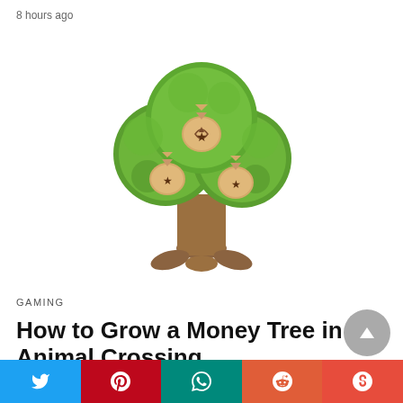8 hours ago
[Figure (illustration): Animal Crossing money tree illustration: a cartoon tree with green leafy canopy containing three tan coin bags with star symbols, sitting on a brown trunk with root-like feet]
GAMING
How to Grow a Money Tree in Animal Crossing
People often remark that there is no such thing as money growing on trees. It's